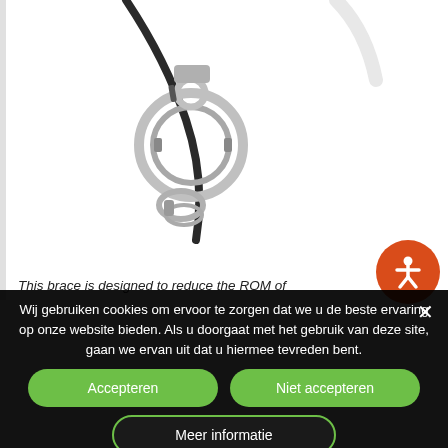[Figure (photo): Product photo showing a metallic brace/ring device with a cord on a white background]
This brace is designed to reduce the ROM of
Wij gebruiken cookies om ervoor te zorgen dat we u de beste ervaring op onze website bieden. Als u doorgaat met het gebruik van deze site, gaan we ervan uit dat u hiermee tevreden bent.